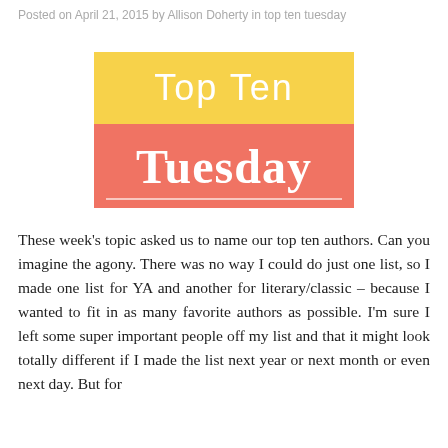Posted on April 21, 2015 by Allison Doherty in top ten tuesday
[Figure (logo): Top Ten Tuesday logo: yellow top half with 'Top Ten' in white light text, coral/salmon bottom half with 'Tuesday' in white bold serif text and a white underline near the bottom]
These week's topic asked us to name our top ten authors. Can you imagine the agony. There was no way I could do just one list, so I made one list for YA and another for literary/classic – because I wanted to fit in as many favorite authors as possible. I'm sure I left some super important people off my list and that it might look totally different if I made the list next year or next month or even next day. But for